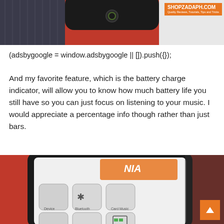[Figure (photo): Top portion of a photo showing a black Bluetooth headphone/earphone device on a red background, with SHOPZADAPH.COM watermark in orange.]
(adsbygoogle = window.adsbygoogle || []).push({});
And my favorite feature, which is the battery charge indicator, will allow you to know how much battery life you still have so you can just focus on listening to your music. I would appreciate a percentage info though rather than just bars.
[Figure (photo): Photo of a smartphone screen showing NIA branded app with menu icons including Bluetooth, Card Music, FM Radio, EQ Setting, and Battery on a red background.]